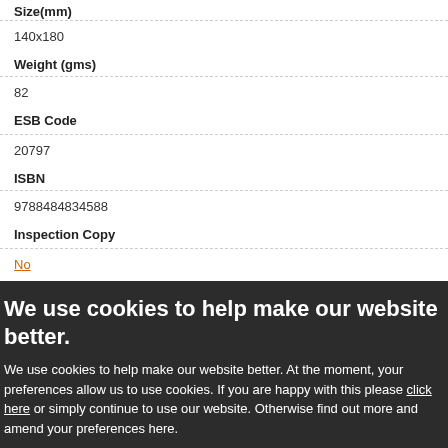Size(mm)
140x180
Weight (gms)
82
ESB Code
20797
ISBN
9788484834588
Inspection Copy
No
We use cookies to help make our website better.
We use cookies to help make our website better. At the moment, your preferences allow us to use cookies. If you are happy with this please click here or simply continue to use our website. Otherwise find out more and amend your preferences here.